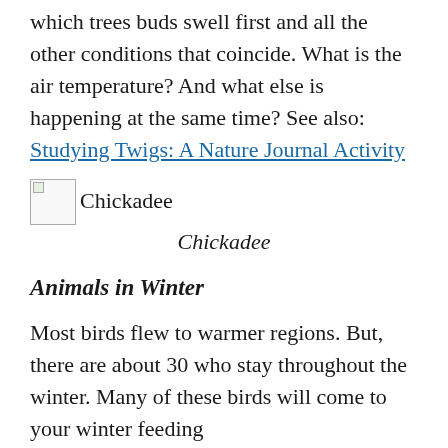which trees buds swell first and all the other conditions that coincide. What is the air temperature? And what else is happening at the same time? See also: Studying Twigs: A Nature Journal Activity
[Figure (photo): Broken image placeholder labeled 'Chickadee']
Chickadee
Animals in Winter
Most birds flew to warmer regions. But, there are about 30 who stay throughout the winter. Many of these birds will come to your winter feeding